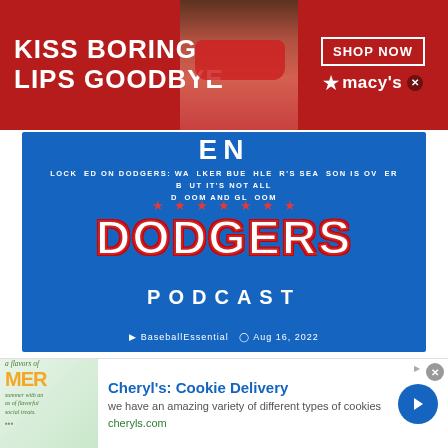[Figure (photo): Top banner advertisement for Macy's lipstick product: red background with woman's face showing red lips, text 'KISS BORING LIPS GOODBYE', 'SHOP NOW' button, Macy's star logo with X close button]
[Figure (photo): Locked On Dodgers podcast banner image: blue background with 'DODGERS PODCAST' text in large letters, red stars, 'EN' logo at top, episode title 'LOCKED ON DODGERS: WALKER BUEHLER'S SEASON IS OVER BUT IT'S NOT ALL DOOM AND GLOOM', author 'BaseballEssential', date 'Aug 16, 2022']
LEAVE A REPLY
[Figure (photo): Bottom advertisement for Cheryl's Cookie Delivery: colorful summer treats image on left, title 'Cheryl's: Cookie Delivery', description 'we have an amazing variety of different types of cookies', URL 'cheryls.com', blue arrow button on right]